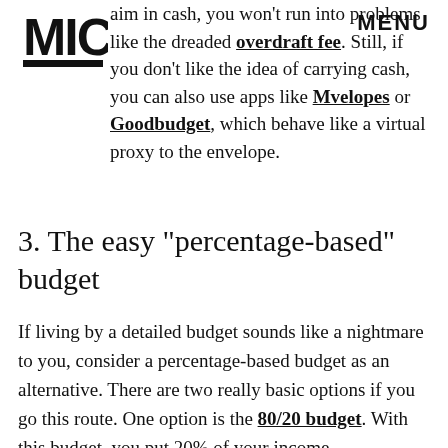[Figure (logo): MIC logo in top left corner]
MENU
aim in cash, you won't run into problems like the dreaded overdraft fee. Still, if you don't like the idea of carrying cash, you can also use apps like Mvelopes or Goodbudget, which behave like a virtual proxy to the envelope.
3. The easy "percentage-based" budget
If living by a detailed budget sounds like a nightmare to you, consider a percentage-based budget as an alternative. There are two really basic options if you go this route. One option is the 80/20 budget. With this budget, you put 20% of your income automatically into